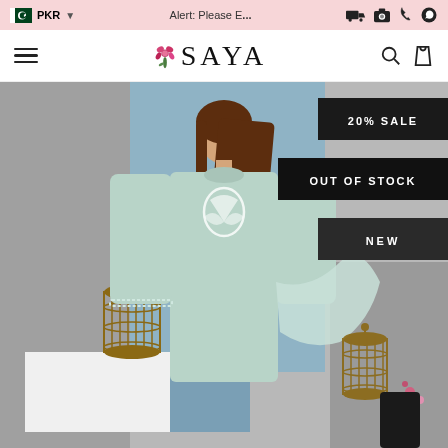🇵🇰 PKR  Alert: Please E...
[Figure (logo): SAYA brand logo with flower decoration, navigation icons for search and bag]
[Figure (photo): Mannequin wearing mint green embroidered salwar kameez with dupatta, decorative bird cages in background with blue and grey backdrop]
20% SALE
OUT OF STOCK
NEW